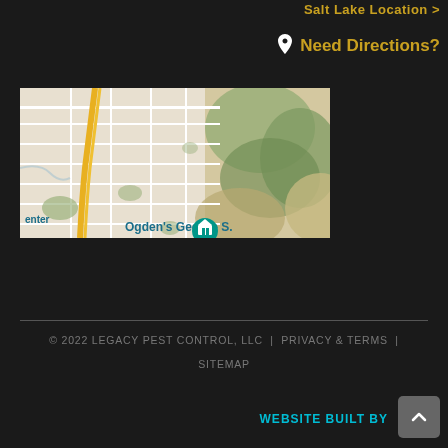Salt Lake Location >
Need Directions?
[Figure (map): Google map showing area near Ogden's George S. Eccles Dinosaur Park, with roads, highway, and terrain features including green hills]
© 2022 LEGACY PEST CONTROL, LLC  |  PRIVACY & TERMS  |  SITEMAP
WEBSITE BUILT BY